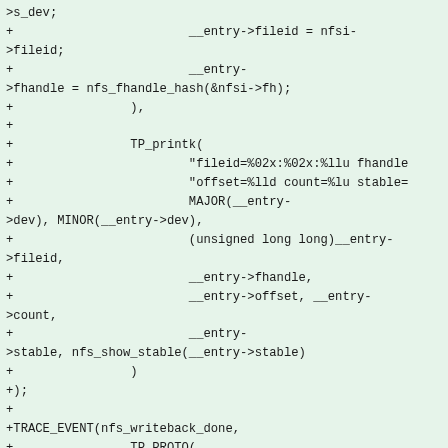>s_dev;
+                        __entry->fileid = nfsi->fileid;
+                        __entry->fhandle = nfs_fhandle_hash(&nfsi->fh);
+                ),
+
+                TP_printk(
+                        "fileid=%02x:%02x:%llu fhandle
+                        "offset=%lld count=%lu stable=
+                        MAJOR(__entry->dev), MINOR(__entry->dev),
+                        (unsigned long long)__entry->fileid,
+                        __entry->fhandle,
+                        __entry->offset, __entry->count,
+                        __entry->stable, nfs_show_stable(__entry->stable)
+                )
+);
+
+TRACE_EVENT(nfs_writeback_done,
+                TP_PROTO(
+                        const struct inode *inode